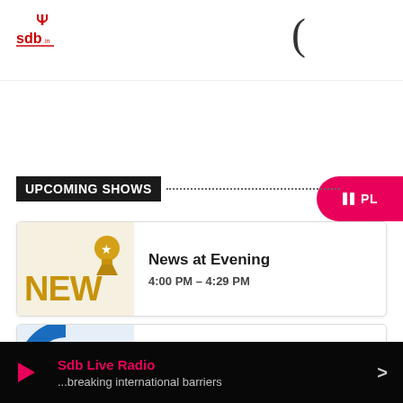SDB logo and navigation header
UPCOMING SHOWS
News at Evening — 4:00 PM – 4:29 PM
Campus gist — 4:30 PM – 4:59 PM
Entertainment hour — 5:00 PM – 5:59 PM
Sdb Live Radio ...breaking international barriers